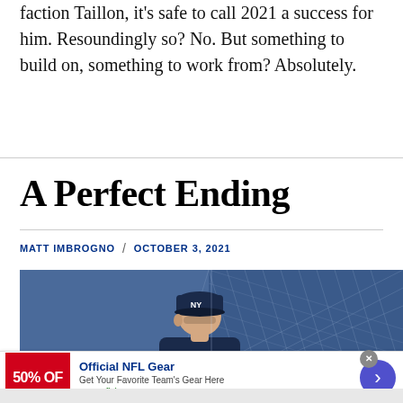faction Taillon, it's safe to call 2021 a success for him. Resoundingly so? No. But something to build on, something to work from? Absolutely.
A Perfect Ending
MATT IMBROGNO / OCTOBER 3, 2021
[Figure (photo): Photo of a New York Yankees player wearing a navy NY cap, with blue netting/fence visible in background. An 'infolinks' watermark badge appears in lower-left of the image area.]
[Figure (other): Advertisement banner: Official NFL Gear - Get Your Favorite Team's Gear Here - www.nflshop.com. Red box on left shows '50% OFF'. Blue circular arrow button on right. Close (X) button in top-right corner.]